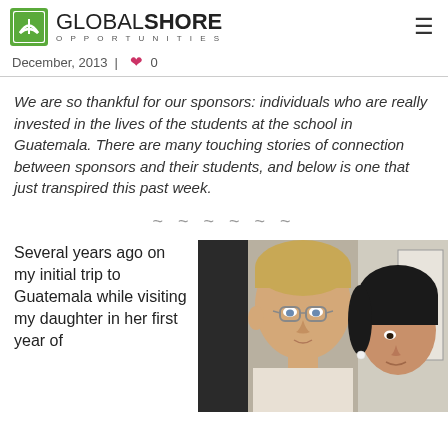GLOBAL SHORE OPPORTUNITIES
December, 2013  |  0
We are so thankful for our sponsors: individuals who are really invested in the lives of the students at the school in Guatemala. There are many touching stories of connection between sponsors and their students, and below is one that just transpired this past week.
~ ~ ~ ~ ~ ~
Several years ago on my initial trip to Guatemala while visiting my daughter in her first year of
[Figure (photo): A photo of two people close together — a blonde person wearing glasses on the left and a dark-haired person on the right, indoors.]